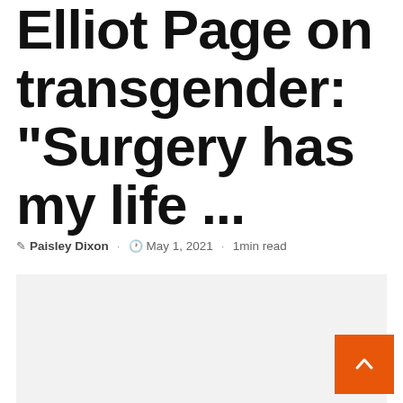Elliot Page on transgender: “Surgery has my life …
✎ Paisley Dixon · ⏰ May 1, 2021 · 1min read
[Figure (photo): Image placeholder area below the article header]